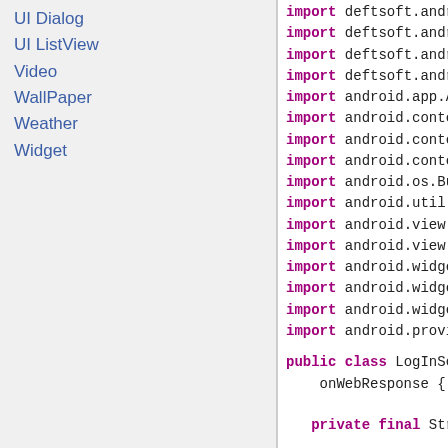UI Dialog
UI ListView
Video
WallPaper
Weather
Widget
import deftsoft.andro...
import deftsoft.andro...
import deftsoft.andro...
import deftsoft.andro...
import android.app.Act...
import android.content...
import android.content...
import android.content...
import android.os.Bund...
import android.util.Lo...
import android.view.Vi...
import android.view.Vi...
import android.widget....
import android.widget....
import android.widget....
import android.provide...
public class LogInScre...
    onWebResponse {

    private final String...

    EditText userNameEdi...

    Butt...